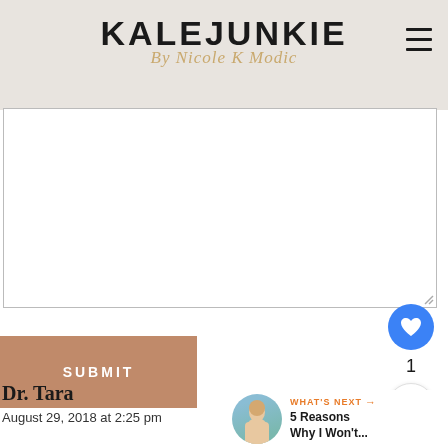KALEJUNKIE By Nicole K Modic
[Figure (other): Empty white text area input box with resize handle in bottom right corner]
SUBMIT
[Figure (other): Blue circular heart/like button with count of 1, and share button below it]
Dr. Tara
August 29, 2018 at 2:25 pm
[Figure (other): WHAT'S NEXT panel with circular thumbnail photo and text '5 Reasons Why I Won't...']